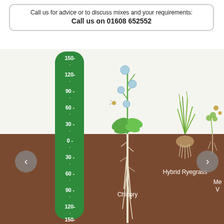Call us for advice or to discuss mixes and your requirements:
Call us on 01608 652552
[Figure (illustration): Cross-section diagram showing plant root depths on a vertical scale ruler (green background, -150 to 150 cm). Above ground (white/light): Chicory plant with tall stem and blue flowers, Hybrid Ryegrass, and a partially visible third plant (Me... V...). Below ground (brown soil): deep taproots for Chicory reaching to 150cm depth, fibrous roots for Hybrid Ryegrass, and small roots for third plant. Navigation arrows (< >) on sides. Scale markings: 150, 120, 90, 60, 30, 0, -30, -60, -90, -120, -150.]